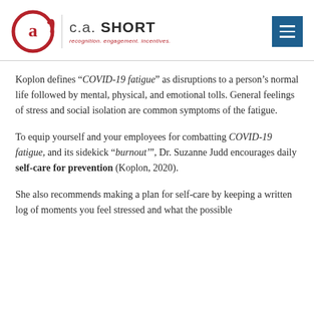[Figure (logo): C.A. Short logo with circular 'a' symbol in red and grey, company name 'C.A. SHORT' in large text, tagline 'recognition. engagement. incentives.' in red below]
Koplon defines "COVID-19 fatigue" as disruptions to a person's normal life followed by mental, physical, and emotional tolls. General feelings of stress and social isolation are common symptoms of the fatigue.
To equip yourself and your employees for combatting COVID-19 fatigue, and its sidekick "burnout'", Dr. Suzanne Judd encourages daily self-care for prevention (Koplon, 2020).
She also recommends making a plan for self-care by keeping a written log of moments you feel stressed and what the possible